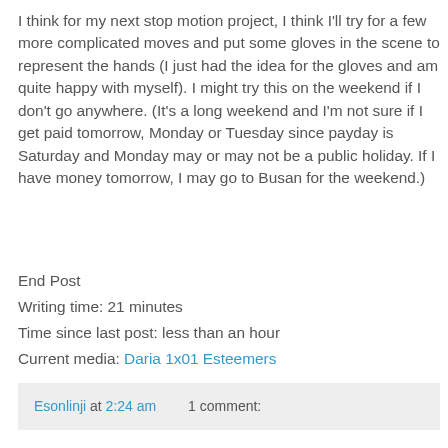I think for my next stop motion project, I think I'll try for a few more complicated moves and put some gloves in the scene to represent the hands (I just had the idea for the gloves and am quite happy with myself). I might try this on the weekend if I don't go anywhere. (It's a long weekend and I'm not sure if I get paid tomorrow, Monday or Tuesday since payday is Saturday and Monday may or may not be a public holiday. If I have money tomorrow, I may go to Busan for the weekend.)
End Post
Writing time: 21 minutes
Time since last post: less than an hour
Current media: Daria 1x01 Esteemers
Esonlinji at 2:24 am    1 comment:
Extreme Hard Drive
One of the positives of disasters is that they generally